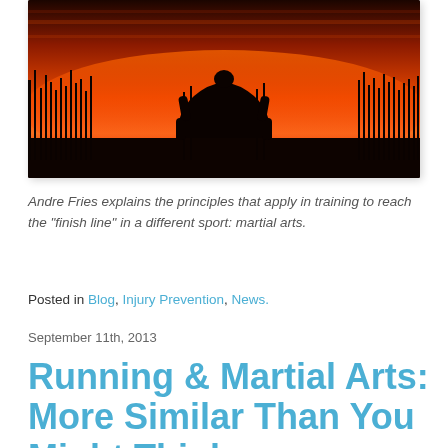[Figure (photo): Silhouette of a person doing a martial arts or yoga pose (bridge-like arch) against a vivid orange-red sunset sky with dark plant silhouettes in the background.]
Andre Fries explains the principles that apply in training to reach the "finish line" in a different sport: martial arts.
Posted in Blog, Injury Prevention, News.
September 11th, 2013
Running & Martial Arts: More Similar Than You Might Think